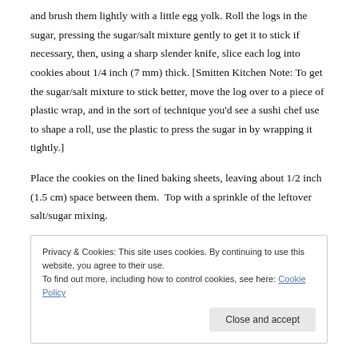and brush them lightly with a little egg yolk. Roll the logs in the sugar, pressing the sugar/salt mixture gently to get it to stick if necessary, then, using a sharp slender knife, slice each log into cookies about 1/4 inch (7 mm) thick. [Smitten Kitchen Note: To get the sugar/salt mixture to stick better, move the log over to a piece of plastic wrap, and in the sort of technique you'd see a sushi chef use to shape a roll, use the plastic to press the sugar in by wrapping it tightly.]
Place the cookies on the lined baking sheets, leaving about 1/2 inch (1.5 cm) space between them.  Top with a sprinkle of the leftover salt/sugar mixing.
Privacy & Cookies: This site uses cookies. By continuing to use this website, you agree to their use.
To find out more, including how to control cookies, see here: Cookie Policy
[Close and accept]